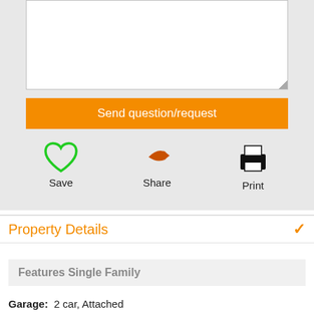[Figure (screenshot): Text area input box, white background with gray border, resize handle at bottom right corner]
Send question/request
[Figure (infographic): Three action icons: green heart Save, orange arrow Share, black printer Print]
Property Details
Features Single Family
Garage:  2 car, Attached